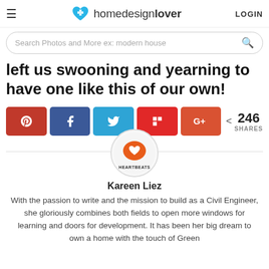homedesignlover LOGIN
Search Photos and More ex: modern house
left us swooning and yearning to have one like this of our own!
[Figure (infographic): Social share buttons: Pinterest, Facebook, Twitter, Flipboard, Google+, with 246 SHARES count]
[Figure (logo): HeartBeats author avatar logo — orange speech bubble with heart inside, text HEARTBEATS below]
Kareen Liez
With the passion to write and the mission to build as a Civil Engineer, she gloriously combines both fields to open more windows for learning and doors for development. It has been her big dream to own a home with the touch of Green